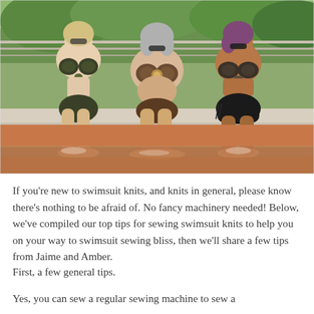[Figure (photo): Three women sitting side by side on a pool ledge with their feet in the water, each wearing bikinis with tropical/patterned fabric tops. Green trees visible in background. Outdoor setting, sunny day.]
If you're new to swimsuit knits, and knits in general, please know there's nothing to be afraid of. No fancy machinery needed! Below, we've compiled our top tips for sewing swimsuit knits to help you on your way to swimsuit sewing bliss, then we'll share a few tips from Jaime and Amber.
First, a few general tips.
Yes, you can sew a regular sewing machine to sew a